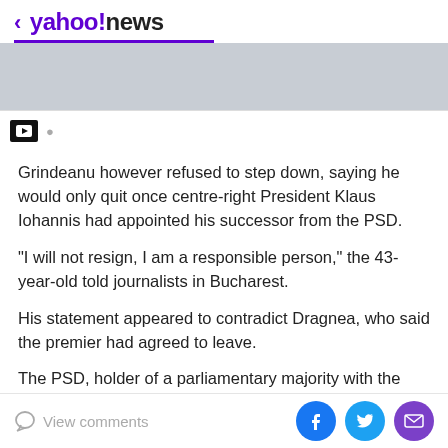< yahoo!news
[Figure (photo): Gray image area with a thumbnail strip at the bottom showing a small dark icon]
Grindeanu however refused to step down, saying he would only quit once centre-right President Klaus Iohannis had appointed his successor from the PSD.
"I will not resign, I am a responsible person," the 43-year-old told journalists in Bucharest.
His statement appeared to contradict Dragnea, who said the premier had agreed to leave.
The PSD, holder of a parliamentary majority with the
View comments